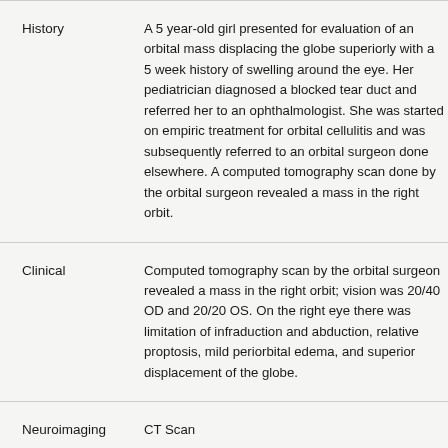|  |  |
| --- | --- |
| History | A 5 year-old girl presented for evaluation of an orbital mass displacing the globe superiorly with a 5 week history of swelling around the eye. Her pediatrician diagnosed a blocked tear duct and referred her to an ophthalmologist. She was started on empiric treatment for orbital cellulitis and was subsequently referred to an orbital surgeon done elsewhere. A computed tomography scan done by the orbital surgeon revealed a mass in t... |
| Clinical | Computed tomography scan by the orbital surgeon revealed a mass in the right orbit; vision was 20/40 OD and 20/20 OS. On the right eye there was limitation of infraduction and abduction, relative proptosis, mild periorbital edema, and superior displacement of the globe. |
| Neuroimaging | CT Scan |